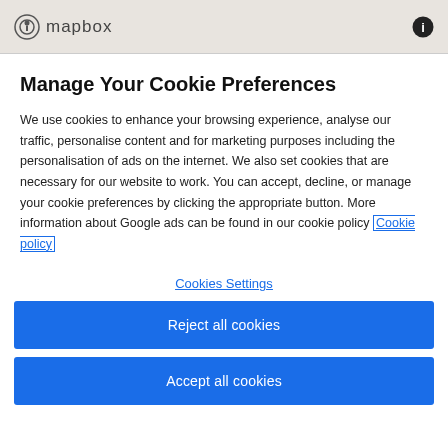mapbox
Manage Your Cookie Preferences
We use cookies to enhance your browsing experience, analyse our traffic, personalise content and for marketing purposes including the personalisation of ads on the internet. We also set cookies that are necessary for our website to work. You can accept, decline, or manage your cookie preferences by clicking the appropriate button. More information about Google ads can be found in our cookie policy Cookie policy
Cookies Settings
Reject all cookies
Accept all cookies